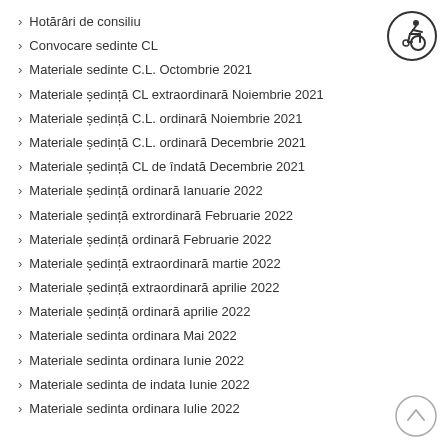Hotărâri de consiliu
Convocare sedinte CL
Materiale sedinte C.L. Octombrie 2021
Materiale ședință CL extraordinară Noiembrie 2021
Materiale ședință C.L. ordinară Noiembrie 2021
Materiale ședință C.L. ordinară Decembrie 2021
Materiale ședință CL de îndată Decembrie 2021
Materiale ședință ordinară Ianuarie 2022
Materiale ședință extrordinară Februarie 2022
Materiale ședință ordinară Februarie 2022
Materiale ședință extraordinară martie 2022
Materiale ședință extraordinară aprilie 2022
Materiale ședință ordinară aprilie 2022
Materiale sedinta ordinara Mai 2022
Materiale sedinta ordinara Iunie 2022
Materiale sedinta de indata Iunie 2022
Materiale sedinta ordinara Iulie 2022
[Figure (illustration): Accessibility icon — person in wheelchair inside a circle]
[Figure (illustration): Scroll-to-top arrow icon inside a circle]